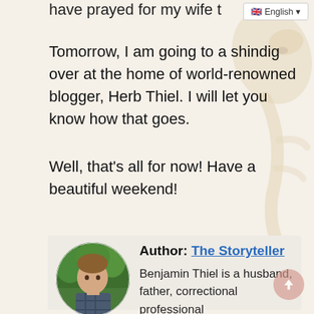have prayed for my wife t
Tomorrow, I am going to a shindig over at the home of world-renowned blogger, Herb Thiel. I will let you know how that goes.
Well, that’s all for now! Have a beautiful weekend!
[Figure (photo): Circular profile photo of a young man standing outdoors among trees, wearing a checked shirt]
Author: The Storyteller
Benjamin Thiel is a husband, father, correctional professional